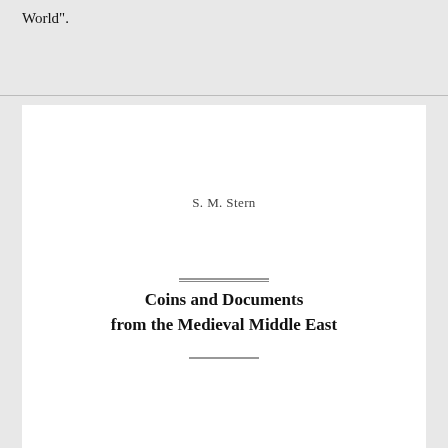World".
S. M. Stern
Coins and Documents from the Medieval Middle East